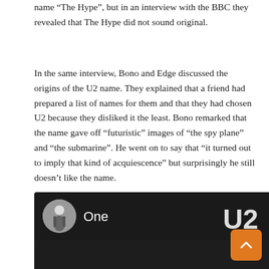name “The Hype”, but in an interview with the BBC they revealed that The Hype did not sound original.
In the same interview, Bono and Edge discussed the origins of the U2 name. They explained that a friend had prepared a list of names for them and that they had chosen U2 because they disliked it the least. Bono remarked that the name gave off “futuristic” images of “the spy plane” and “the submarine”. He went on to say that “it turned out to imply that kind of acquiescence” but surprisingly he still doesn’t like the name.
[Figure (screenshot): A music player UI screenshot on a dark background showing a song titled 'One' by U2, with a circular avatar of a person in white clothes, and an orange scroll-to-top button in the bottom right.]